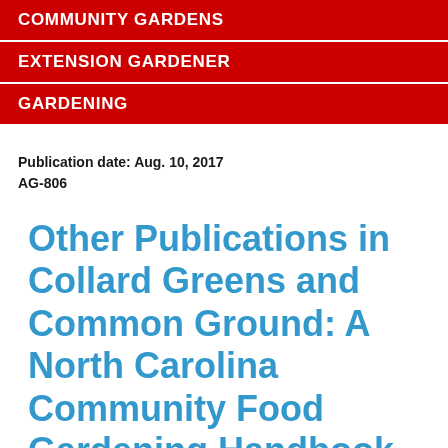COMMUNITY GARDENS
EXTENSION GARDENER
GARDENING
Publication date: Aug. 10, 2017
AG-806
Other Publications in Collard Greens and Common Ground: A North Carolina Community Food Gardening Handbook
Introduction